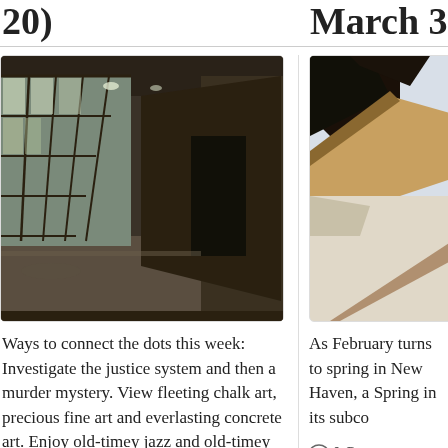20)
March 3)
[Figure (photo): Interior of an industrial building with large multi-pane windows along the left wall, dark corridor receding into distance]
[Figure (photo): Close-up of what appears to be a dark angular sculpture or architectural detail against a light sky background]
Ways to connect the dots this week: Investigate the justice system and then a murder mystery. View fleeting chalk art, precious fine art and everlasting concrete art. Enjoy old-timey jazz and old-timey home movies. …
As February turns to spring in New Haven, a Spring in its subco
0 Comments
READ MORE ›
0 Comm